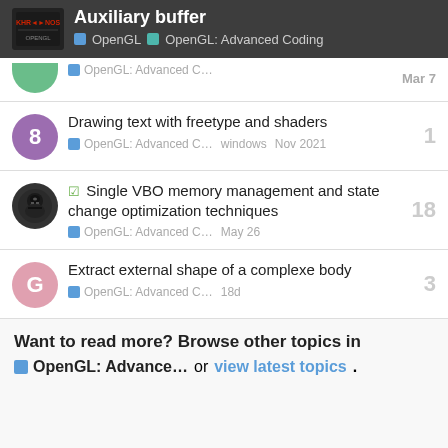Auxiliary buffer | OpenGL | OpenGL: Advanced Coding
OpenGL: Advanced C... Mar 7
Drawing text with freetype and shaders | OpenGL: Advanced C... windows | Nov 2021 | replies: 1
[solved] Single VBO memory management and state change optimization techniques | OpenGL: Advanced C... | May 26 | replies: 18
Extract external shape of a complexe body | OpenGL: Advanced C... | 18d | replies: 3
Want to read more? Browse other topics in OpenGL: Advance... or view latest topics.